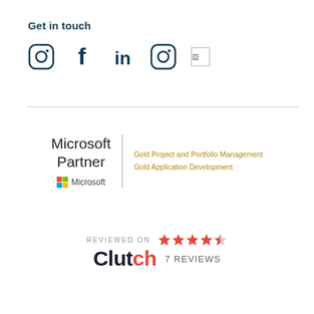Get in touch
[Figure (infographic): Row of social media icons: Instagram, Facebook, LinkedIn, Instagram (second), and a broken/missing image icon]
[Figure (logo): Microsoft Partner badge with Gold Project and Portfolio Management and Gold Application Development designations, with Microsoft logo]
[Figure (infographic): Reviewed on Clutch badge showing 4.5 stars and 7 reviews]